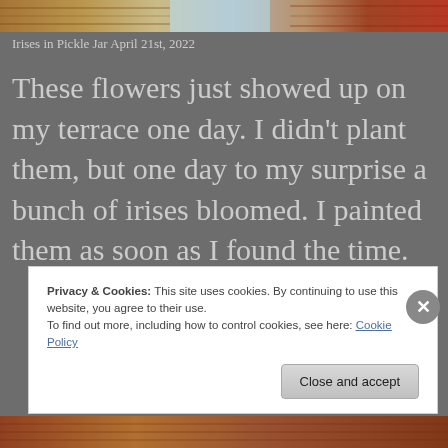[Figure (photo): Partial view of a painting or photograph showing a decorative rug/tapestry with floral and geometric patterns in red, gold, and cream tones, with a blue sky visible in the upper portion.]
Irises in Pickle Jar April 21st, 2022
These flowers just showed up on my terrace one day. I didn't plant them, but one day to my surprise a bunch of irises bloomed. I painted them as soon as I found the time.
Privacy & Cookies: This site uses cookies. By continuing to use this website, you agree to their use.
To find out more, including how to control cookies, see here: Cookie Policy
[Figure (other): Close and accept button and X close button for cookie banner]